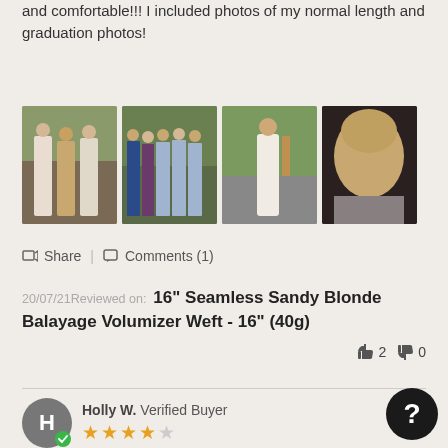and comfortable!!! I included photos of my normal length and graduation photos!
[Figure (photo): Four photos showing prom/graduation dresses and a selfie]
Share | Comments (1)
20/07/21 Reviewed on: 16" Seamless Sandy Blonde Balayage Volumizer Weft - 16" (40g)
2  0
Holly W. Verified Buyer
★★★★☆
Would recommend
Color is the absolute best match I've found! I do wish that the